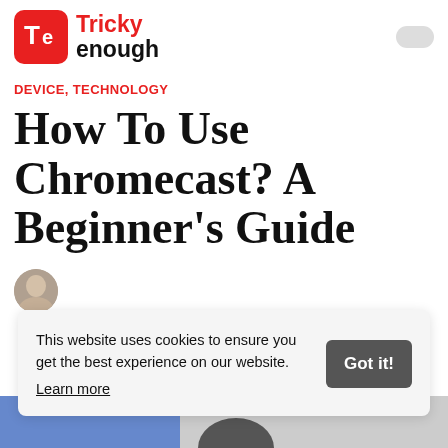[Figure (logo): Tricky Enough logo: red rounded square with 'Te' monogram in white, next to bold text 'Tricky' in red and 'enough' in black]
DEVICE, TECHNOLOGY
How To Use Chromecast? A Beginner's Guide
This website uses cookies to ensure you get the best experience on our website. Learn more